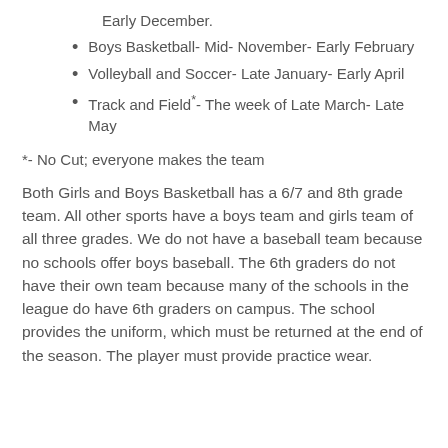Early December.
Boys Basketball- Mid- November- Early February
Volleyball and Soccer- Late January- Early April
Track and Field*- The week of Late March- Late May
*- No Cut; everyone makes the team
Both Girls and Boys Basketball has a 6/7 and 8th grade team. All other sports have a boys team and girls team of all three grades. We do not have a baseball team because no schools offer boys baseball. The 6th graders do not have their own team because many of the schools in the league do have 6th graders on campus. The school provides the uniform, which must be returned at the end of the season. The player must provide practice wear.